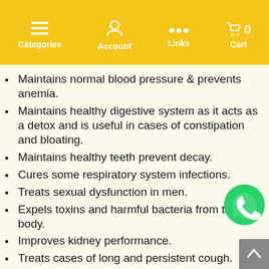Categories  Account  Links  Cart  0
Maintains normal blood pressure & prevents anemia.
Maintains healthy digestive system as it acts as a detox and is useful in cases of constipation and bloating.
Maintains healthy teeth prevent decay.
Cures some respiratory system infections.
Treats sexual dysfunction in men.
Expels toxins and harmful bacteria from the body.
Improves kidney performance.
Treats cases of long and persistent cough.
Strengthens the heart muscle.
Has high nutritious value, therefor it benefits children and adults.
It provides energy to the body, especially after a hard physical or mental effort.